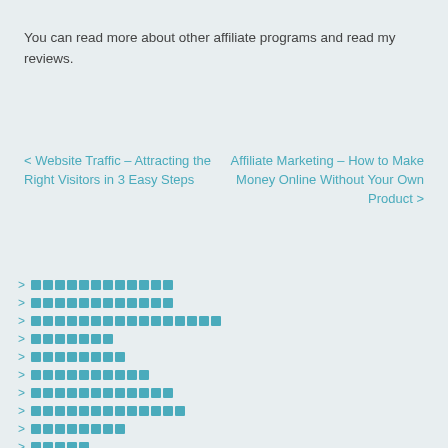You can read more about other affiliate programs and read my reviews.
< Website Traffic – Attracting the Right Visitors in 3 Easy Steps   Affiliate Marketing – How to Make Money Online Without Your Own Product >
██████████████
██████████████
████████████████████
████████
█████████
████████████
███████████████
████████████████
█████████
██████